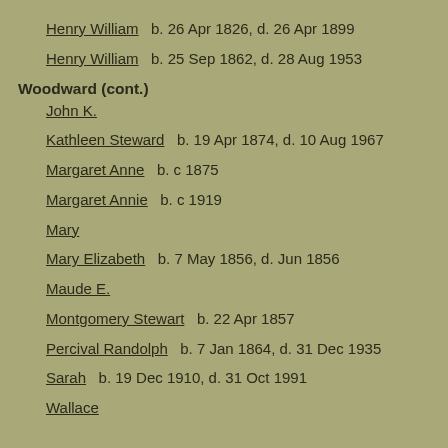Henry William  b. 26 Apr 1826, d. 26 Apr 1899
Henry William  b. 25 Sep 1862, d. 28 Aug 1953
Woodward (cont.)
John K.
Kathleen Steward  b. 19 Apr 1874, d. 10 Aug 1967
Margaret Anne  b. c 1875
Margaret Annie  b. c 1919
Mary
Mary Elizabeth  b. 7 May 1856, d. Jun 1856
Maude E.
Montgomery Stewart  b. 22 Apr 1857
Percival Randolph  b. 7 Jan 1864, d. 31 Dec 1935
Sarah  b. 19 Dec 1910, d. 31 Oct 1991
Wallace